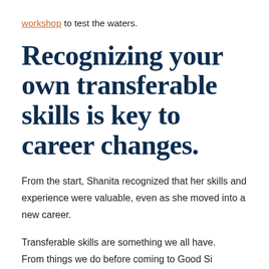workshop to test the waters.
Recognizing your own transferable skills is key to career changes.
From the start, Shanita recognized that her skills and experience were valuable, even as she moved into a new career.
Transferable skills are something we all have. From things we do before coming to Good Si...